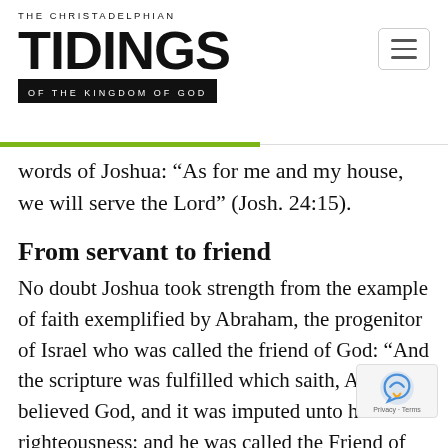THE CHRISTADELPHIAN TIDINGS OF THE KINGDOM OF GOD
words of Joshua: “As for me and my house, we will serve the Lord” (Josh. 24:15).
From servant to friend
No doubt Joshua took strength from the example of faith exemplified by Abraham, the progenitor of Israel who was called the friend of God: “And the scripture was fulfilled which saith, Abraham believed God, and it was imputed unto him for righteousness: and he was called the Friend of God” (Jam. 2:23).
We, being related to Abraham through faith in